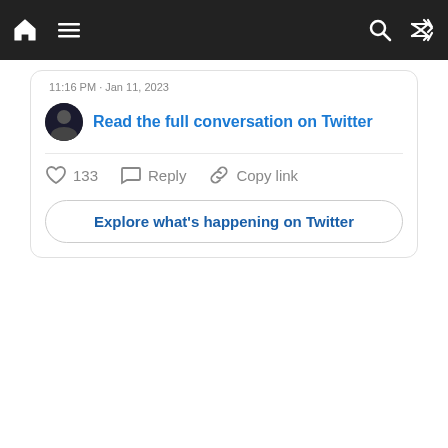Navigation bar with home, menu, search, and shuffle icons
11:16 PM · Jan 11, 2023
Read the full conversation on Twitter
♡ 133   Reply   Copy link
Explore what's happening on Twitter